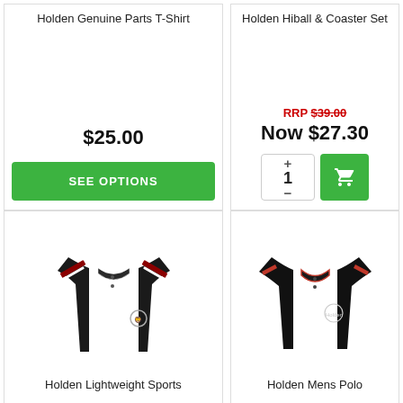Holden Genuine Parts T-Shirt
$25.00
SEE OPTIONS
Holden Hiball & Coaster Set
RRP $39.00
Now $27.30
[Figure (photo): Holden Lightweight Sports polo shirt, black with red and white stripe on sleeves, HOLDEN branding]
Holden Lightweight Sports
[Figure (photo): Holden Mens Polo shirt, black with red trim collar, Holden logo on chest]
Holden Mens Polo